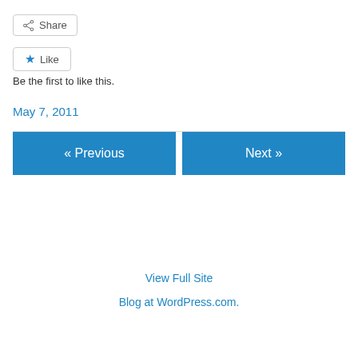Share
Like
Be the first to like this.
May 7, 2011
« Previous
Next »
View Full Site
Blog at WordPress.com.